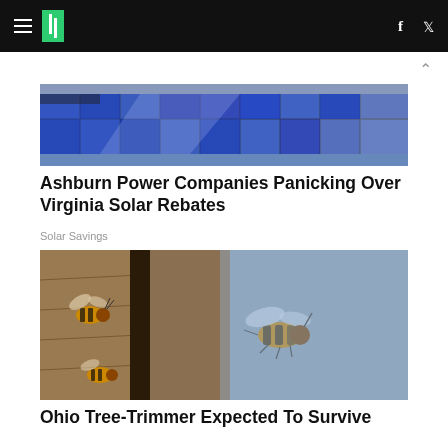HuffPost navigation header with hamburger menu, logo, Facebook and Twitter icons
[Figure (photo): Solar panels on a roof with blue sky and reflections]
Ashburn Power Companies Panicking Over Virginia Solar Rebates
Solar Savings
[Figure (photo): Close-up photo of honeybees, one flying in mid-air against a blue sky background, others on a wooden surface]
Ohio Tree-Trimmer Expected To Survive